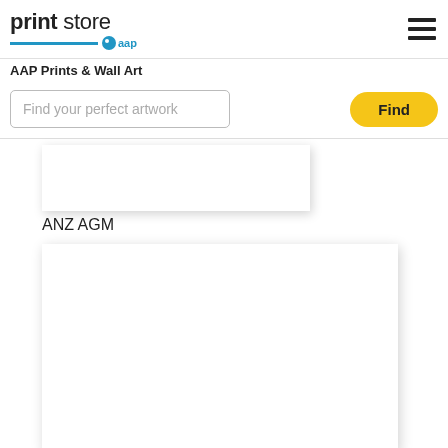print store aap — AAP Prints & Wall Art
Find your perfect artwork
Find
ANZ AGM
[Figure (photo): Blank white image card placeholder for ANZ AGM image, top card]
[Figure (photo): Blank white image card placeholder for ANZ AGM image, main large card]